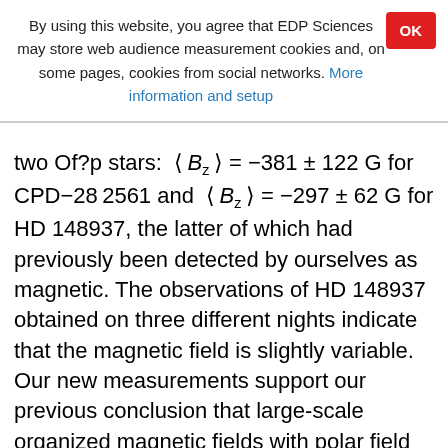By using this website, you agree that EDP Sciences may store web audience measurement cookies and, on some pages, cookies from social networks. More information and setup
two Of?p stars: ⟨Bz⟩ = −381 ± 122 G for CPD−28 2561 and ⟨Bz⟩ = −297 ± 62 G for HD 148937, the latter of which had previously been detected by ourselves as magnetic. The observations of HD 148937 obtained on three different nights indicate that the magnetic field is slightly variable. Our new measurements support our previous conclusion that large-scale organized magnetic fields with polar field strengths in excess of 1 kG are not widespread among O-type stars. Among the stars with a detected magnetic field, only one star, HD 156154